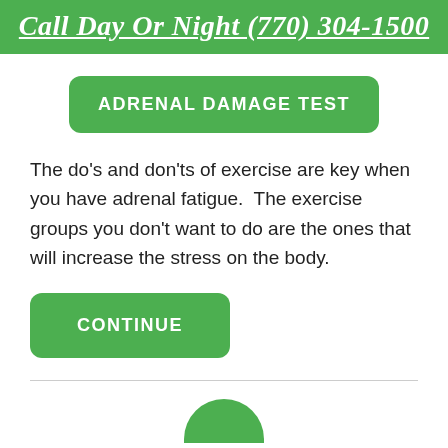Call Day Or Night (770) 304-1500
ADRENAL DAMAGE TEST
The do's and don'ts of exercise are key when you have adrenal fatigue.  The exercise groups you don't want to do are the ones that will increase the stress on the body.
CONTINUE